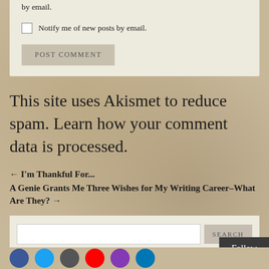by email.
Notify me of new posts by email.
POST COMMENT
This site uses Akismet to reduce spam. Learn how your comment data is processed.
← I'm Thankful For...
A Genie Grants Me Three Wishes for My Writing Career–What Are They? →
SEARCH
Follow